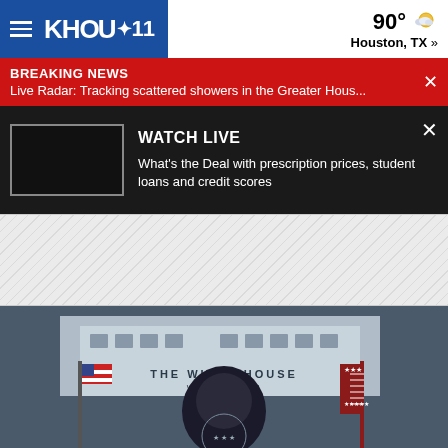KHOU 11 — 90° Houston, TX »
BREAKING NEWS
Live Radar: Tracking scattered showers in the Greater Hous...
WATCH LIVE
What's the Deal with prescription prices, student loans and credit scores
[Figure (photo): Advertisement placeholder area with diagonal hatching pattern]
[Figure (photo): White House briefing room scene with person at podium, US flag, The White House Washington seal visible, video player with play button overlay]